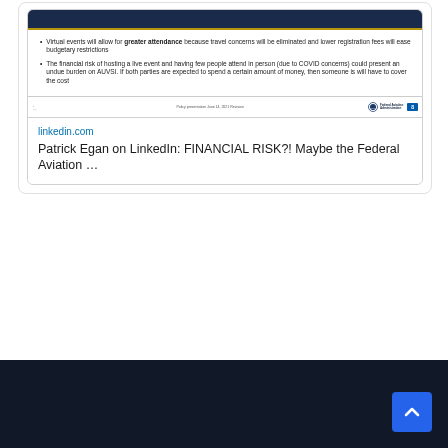[Figure (screenshot): Screenshot of a FAA presentation slide showing bullet points about virtual events and financial risk. The slide has a dark navy header bar with a gold/tan bottom border. Two bullet points discuss virtual events allowing greater attendance and financial risk of hosting live events during COVID. The slide has an FAA logo and page number 8 at the bottom.]
linkedin.com
Patrick Egan on LinkedIn: FINANCIAL RISK?! Maybe the Federal Aviation …